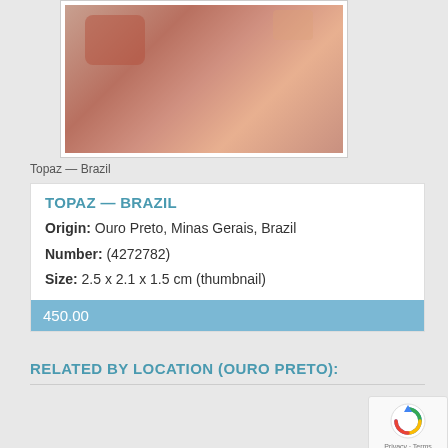[Figure (photo): Photograph of a brownish-red topaz mineral specimen from Brazil on a light grey background]
Topaz — Brazil
| TOPAZ — BRAZIL |
| Origin: | Ouro Preto, Minas Gerais, Brazil |
| Number: | (4272782) |
| Size: | 2.5 x 2.1 x 1.5 cm (thumbnail) |
| 450.00 |
RELATED BY LOCATION (OURO PRETO):
[Figure (photo): Photograph of an orange-red topaz mineral specimen from Ouro Preto on a dark gradient background]